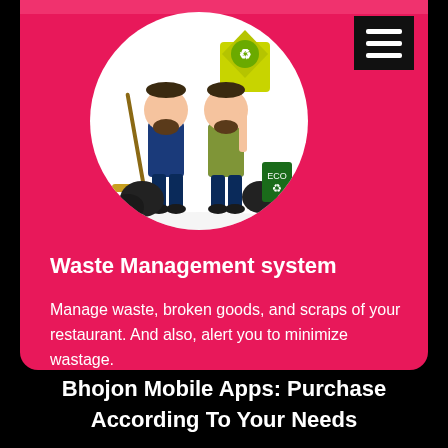[Figure (illustration): Two cartoon sanitation workers standing in front of a recycling/eco sign. One holds a broom, the other holds a recycling road sign. There is an eco bin beside them. They stand inside a white circle on a pink/red background.]
Waste Management system
Manage waste, broken goods, and scraps of your restaurant. And also, alert you to minimize wastage.
Bhojon Mobile Apps: Purchase According To Your Needs